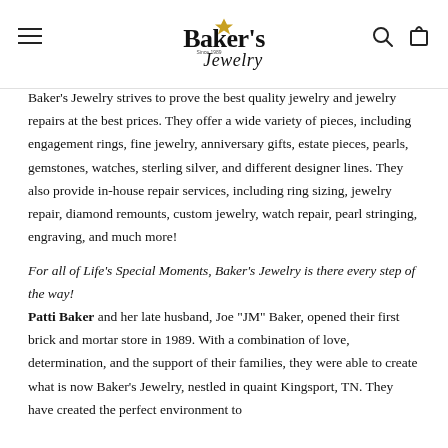Baker's Jewelry
Baker's Jewelry strives to prove the best quality jewelry and jewelry repairs at the best prices. They offer a wide variety of pieces, including engagement rings, fine jewelry, anniversary gifts, estate pieces, pearls, gemstones, watches, sterling silver, and different designer lines. They also provide in-house repair services, including ring sizing, jewelry repair, diamond remounts, custom jewelry, watch repair, pearl stringing, engraving, and much more!
For all of Life's Special Moments, Baker's Jewelry is there every step of the way!
Patti Baker and her late husband, Joe "JM" Baker, opened their first brick and mortar store in 1989. With a combination of love, determination, and the support of their families, they were able to create what is now Baker's Jewelry, nestled in quaint Kingsport, TN. They have created the perfect environment to